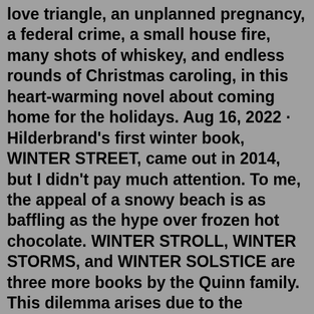love triangle, an unplanned pregnancy, a federal crime, a small house fire, many shots of whiskey, and endless rounds of Christmas caroling, in this heart-warming novel about coming home for the holidays. Aug 16, 2022 · Hilderbrand's first winter book, WINTER STREET, came out in 2014, but I didn't pay much attention. To me, the appeal of a snowy beach is as baffling as the hype over frozen hot chocolate. WINTER STROLL, WINTER STORMS, and WINTER SOLSTICE are three more books by the Quinn family. This dilemma arises due to the existence of various types of elin hilderbrand books that are present in the market. To reduce your conundrum, we have prepared a comprehensive guide of how you may pick the best elin hilderbrand books available in the market. The Essential Elin Hilderbrand. I'm in the mood for sisters against the world. In BAREFOOT, Brenda Lyndon and Vicki Lyndon Stowe arrive on Nantucket with Vicki's young sons and a ... Show me a woman who says, 'To hell